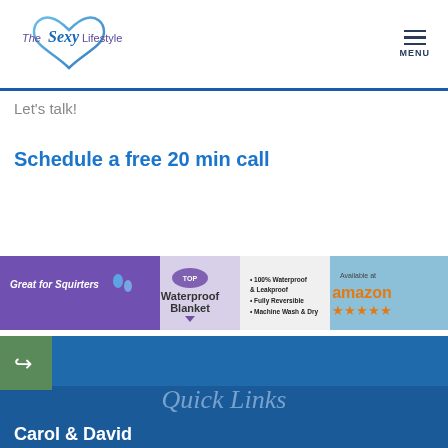[Figure (logo): The Sexy Lifestyle logo with heart shape in blue gradient and stylized script text]
Let's talk!
Schedule a free 20 min call
[Figure (infographic): Ad banner: Great for Squirters - TOP Waterproof Blanket - 100% Waterproof & Leakproof, Fully Reversible, Machine Wash & Dry - Available at amazon ★★★★★]
[Figure (screenshot): Footer section with share icon button, Quick Links heading, and Carol & David text on blue gradient background]